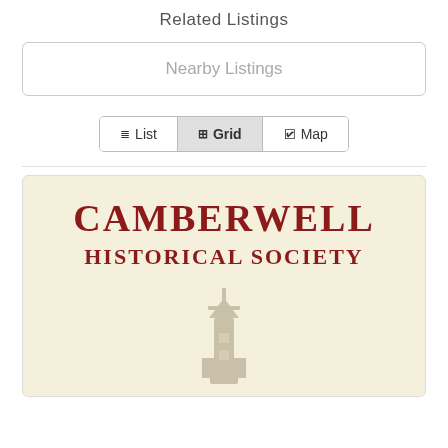Related Listings
Nearby Listings
List  Grid  Map
[Figure (logo): Camberwell Historical Society logo with dark red text 'CAMBERWELL' and 'HISTORICAL SOCIETY' on a cream background, with a faint illustration of a tower/windmill below the text.]